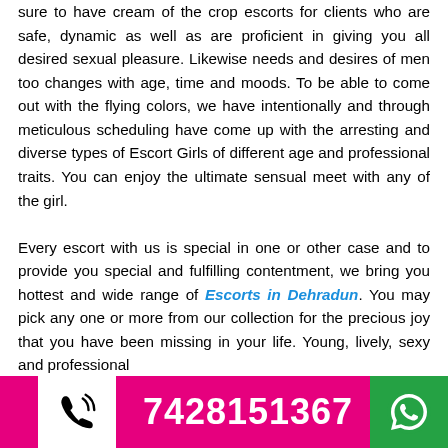sure to have cream of the crop escorts for clients who are safe, dynamic as well as are proficient in giving you all desired sexual pleasure. Likewise needs and desires of men too changes with age, time and moods. To be able to come out with the flying colors, we have intentionally and through meticulous scheduling have come up with the arresting and diverse types of Escort Girls of different age and professional traits. You can enjoy the ultimate sensual meet with any of the girl.

Every escort with us is special in one or other case and to provide you special and fulfilling contentment, we bring you hottest and wide range of Escorts in Dehradun. You may pick any one or more from our collection for the precious joy that you have been missing in your life. Young, lively, sexy and professional
7428151367